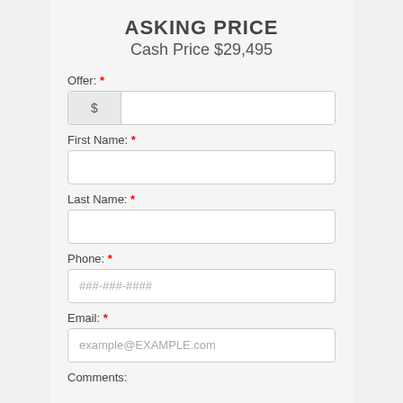ASKING PRICE
Cash Price $29,495
Offer: *
$ [input field]
First Name: *
[input field]
Last Name: *
[input field]
Phone: *
###-###-####
Email: *
example@EXAMPLE.com
Comments: